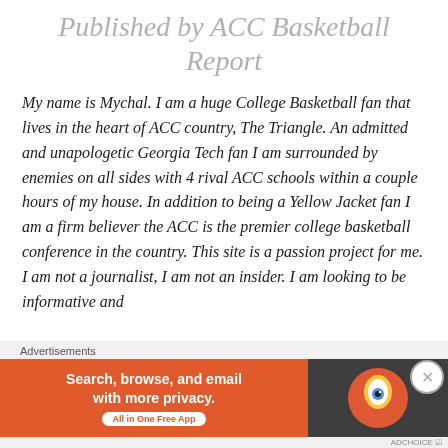Published by ACC Basketball Report
My name is Mychal. I am a huge College Basketball fan that lives in the heart of ACC country, The Triangle. An admitted and unapologetic Georgia Tech fan I am surrounded by enemies on all sides with 4 rival ACC schools within a couple hours of my house. In addition to being a Yellow Jacket fan I am a firm believer the ACC is the premier college basketball conference in the country. This site is a passion project for me. I am not a journalist, I am not an insider. I am looking to be informative and
Advertisements
[Figure (screenshot): DuckDuckGo advertisement banner: orange left panel with text 'Search, browse, and email with more privacy. All in One Free App', dark right panel with DuckDuckGo logo]